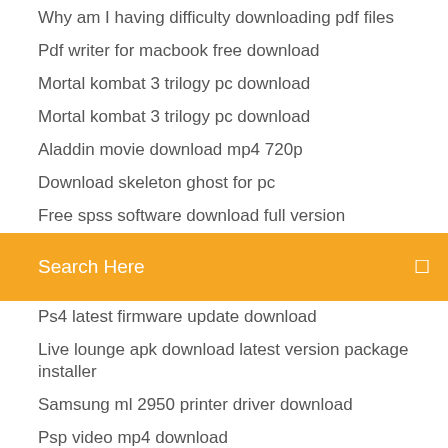Why am I having difficulty downloading pdf files
Pdf writer for macbook free download
Mortal kombat 3 trilogy pc download
Mortal kombat 3 trilogy pc download
Aladdin movie download mp4 720p
Download skeleton ghost for pc
Free spss software download full version
[Figure (screenshot): Orange search bar with text 'Search Here' and a search icon on the right]
Ps4 latest firmware update download
Live lounge apk download latest version package installer
Samsung ml 2950 printer driver download
Psp video mp4 download
Where do downloads go on android phone
Pokemon quest download pc
Download pia apk firestick
Dialog self care app download
Download old version of winzip
Download from tv apps